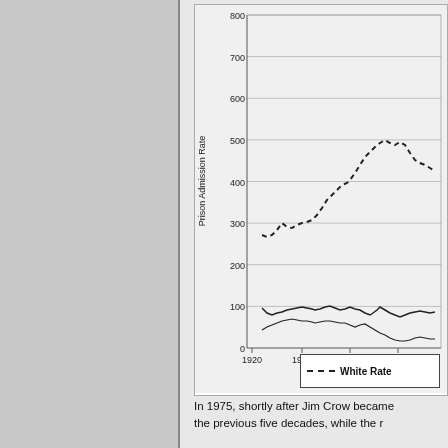[Figure (continuous-plot): A line chart showing Prison Admission Rate from 1920 to approximately 1950+. Y-axis labeled 'Prison Admission Rate' with values 0, 100, 200, 300, 400, 500, 600, 700, 800. Two lines visible: a dashed line (White Rate) rising from ~300 in late 1920s to ~500 by late 1940s, and solid lines at lower values (~100 and ~30). X-axis shows years 1920, 1930, 1940, 1950.]
In 1975, shortly after Jim Crow became the previous five decades, while the r